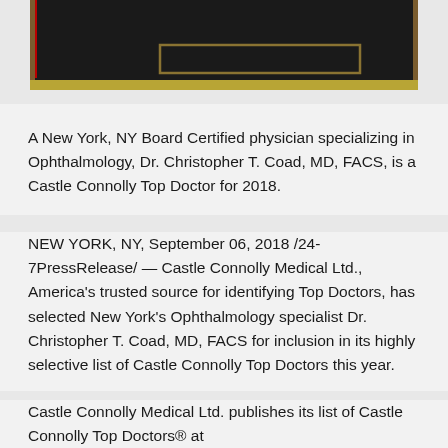[Figure (photo): Dark plaque/award image with gold border at bottom and red vertical bar on left side, containing a rectangular gold-bordered frame element]
A New York, NY Board Certified physician specializing in Ophthalmology, Dr. Christopher T. Coad, MD, FACS, is a Castle Connolly Top Doctor for 2018.
NEW YORK, NY, September 06, 2018 /24-7PressRelease/ — Castle Connolly Medical Ltd., America's trusted source for identifying Top Doctors, has selected New York's Ophthalmology specialist Dr. Christopher T. Coad, MD, FACS for inclusion in its highly selective list of Castle Connolly Top Doctors this year.
Castle Connolly Medical Ltd. publishes its list of Castle Connolly Top Doctors® at castleconnolly.com providing patients with a...